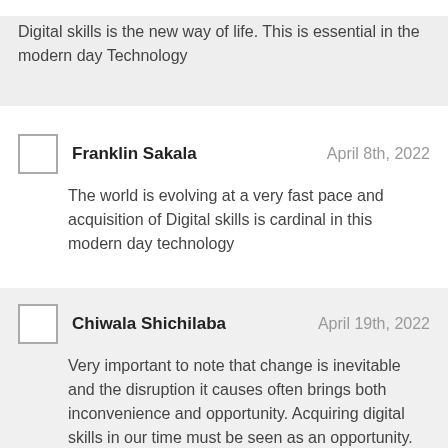Digital skills is the new way of life. This is essential in the modern day Technology
Franklin Sakala — April 8th, 2022
The world is evolving at a very fast pace and acquisition of Digital skills is cardinal in this modern day technology
Chiwala Shichilaba — April 19th, 2022
Very important to note that change is inevitable and the disruption it causes often brings both inconvenience and opportunity. Acquiring digital skills in our time must be seen as an opportunity.